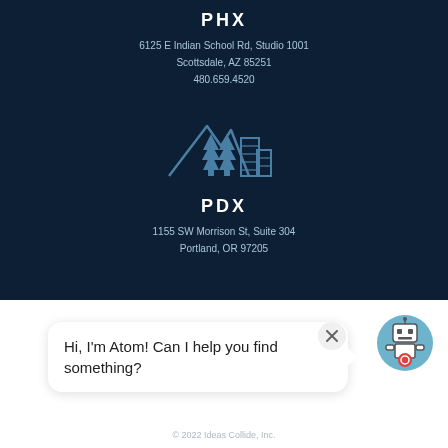PHX
6125 E Indian School Rd, Studio 1001
Scottsdale, AZ 85251
480.659.4520
[Figure (illustration): Icon of mountains, pine trees, and city buildings representing Portland (PDX)]
PDX
1155 SW Morrison St, Suite 304
Portland, OR 97205
Hi, I'm Atom! Can I help you find something?
© 2022 Ideas Collide, Inc.